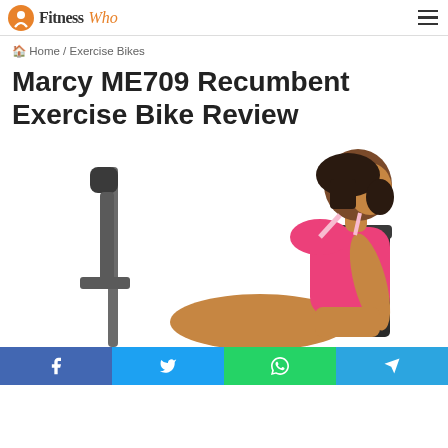Fitness Who — navigation header with logo and hamburger menu
Home / Exercise Bikes
Marcy ME709 Recumbent Exercise Bike Review
[Figure (photo): Woman in pink sports bra sitting on a recumbent exercise bike, white background. Partial view showing handlebars on the left and woman on the right.]
Social share buttons: Facebook, Twitter, WhatsApp, Telegram